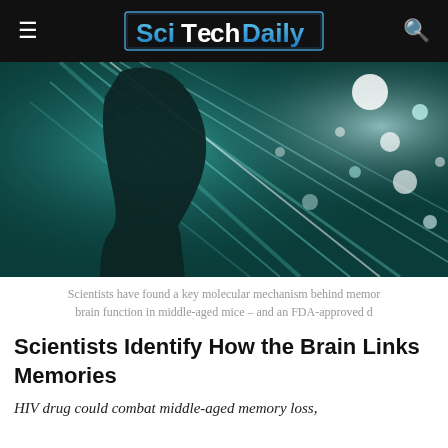SciTechDaily
[Figure (photo): Artistic illustration of a human silhouette profile with teal/cyan light rays and bokeh effects suggesting brain or neural activity]
Scientists have found a key molecular mechanism behind memory and brain function in middle-aged mice – and an FDA-approved d
Scientists Identify How the Brain Links Memories
HIV drug could combat middle-aged memory loss,